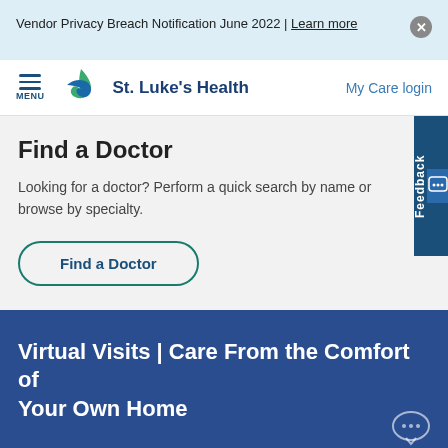Vendor Privacy Breach Notification June 2022 | Learn more
[Figure (logo): St. Luke's Health logo with green and blue cross/star shape and hamburger menu icon]
My Care login
Find a Doctor
Looking for a doctor? Perform a quick search by name or browse by specialty.
Find a Doctor
Virtual Visits | Care From the Comfort of Your Own Home